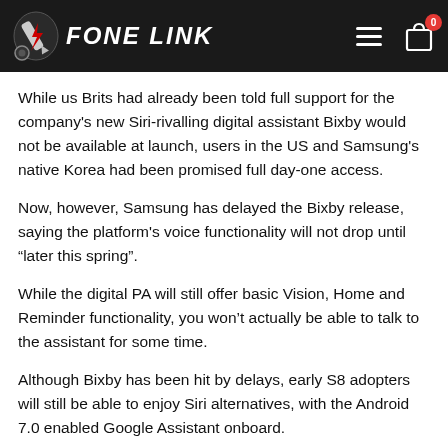FONE LINK
While us Brits had already been told full support for the company's new Siri-rivalling digital assistant Bixby would not be available at launch, users in the US and Samsung's native Korea had been promised full day-one access.
Now, however, Samsung has delayed the Bixby release, saying the platform's voice functionality will not drop until “later this spring”.
While the digital PA will still offer basic Vision, Home and Reminder functionality, you won’t actually be able to talk to the assistant for some time.
Although Bixby has been hit by delays, early S8 adopters will still be able to enjoy Siri alternatives, with the Android 7.0 enabled Google Assistant onboard.